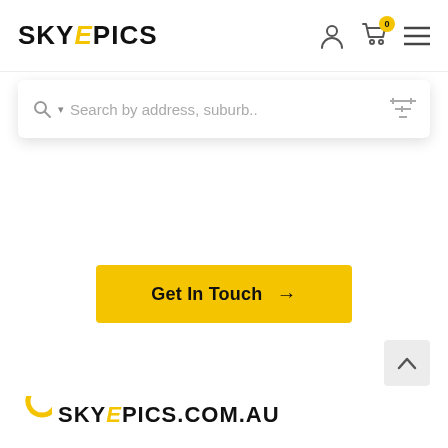SKYePICS
[Figure (screenshot): Search bar with placeholder text 'Search by address, suburb..' and filter icon on the right]
[Figure (other): Yellow 'Get In Touch' button with arrow]
[Figure (other): Scroll-to-top button with caret/chevron up icon]
SKYePICS.com.au